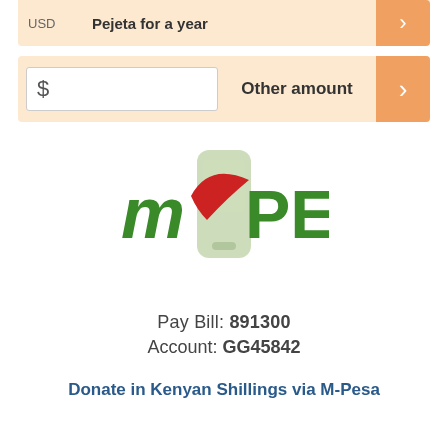USD  Pejeta for a year  >
$ Other amount >
[Figure (logo): M-Pesa logo: stylized text 'M-PESA' in green with a red swoosh and a light green mobile phone graphic behind the hyphen.]
Pay Bill: 891300
Account: GG45842
Donate in Kenyan Shillings via M-Pesa